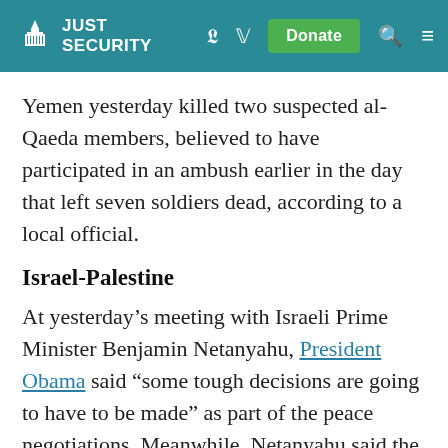Just Security
Yemen yesterday killed two suspected al-Qaeda members, believed to have participated in an ambush earlier in the day that left seven soldiers dead, according to a local official.
Israel-Palestine
At yesterday’s meeting with Israeli Prime Minister Benjamin Netanyahu, President Obama said “some tough decisions are going to have to be made” as part of the peace negotiations. Meanwhile, Netanyahu said the people of Israel expected him to “stand strong